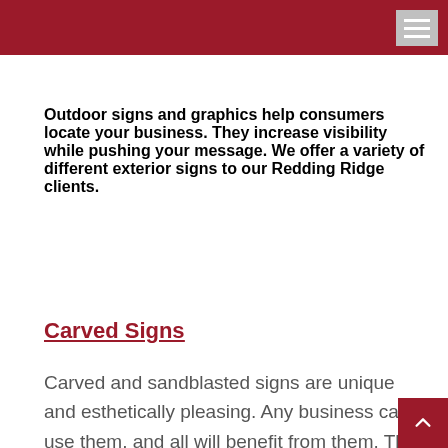Outdoor signs and graphics help consumers locate your business. They increase visibility while pushing your message. We offer a variety of different exterior signs to our Redding Ridge clients.
Carved Signs
Carved and sandblasted signs are unique and esthetically pleasing. Any business can use them, and all will benefit from them. They are made from laminated redwood or